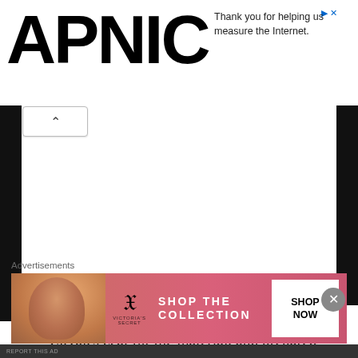APNIC
Thank you for helping us measure the Internet.
De Havilland's performance fuels The Snake Pit. The veteran actress matched Litvak's zeal for the material, and prepared by observing hydrotherapy and electroshock treatments. She also underwent a diet to lose weight, and had dark circles of makeup applied under her eyes. This was
Advertisements
[Figure (photo): Victoria's Secret advertisement banner showing a model, VS logo, 'SHOP THE COLLECTION' text and 'SHOP NOW' button]